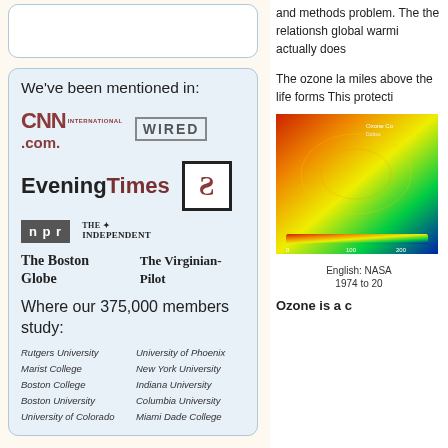We've been mentioned in:
[Figure (logo): CNN International .com logo]
[Figure (logo): WIRED logo]
[Figure (logo): Evening Times logo]
[Figure (logo): S logo (Smashing Magazine style)]
[Figure (logo): NPR logo]
[Figure (logo): The Independent logo]
[Figure (logo): The Boston Globe logo]
[Figure (logo): The Virginian-Pilot logo]
Where our 375,000 members study:
Rutgers University
University of Phoenix
Marist College
New York University
Boston College
Indiana University
Boston University
Columbia University
University of Colorado
Miami Dade College
and methods problem. The the relationsh global warmi actually does
The ozone la miles above the life forms This protecti
[Figure (map): NASA ozone layer map showing ozone concentration from 1974 to 20xx, colored heat map from blue to red]
English: NASA 1974 to 20
Ozone is a c